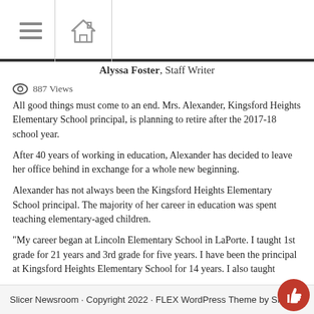Navigation bar with hamburger menu and home icon
Alyssa Foster, Staff Writer
887 Views
All good things must come to an end. Mrs. Alexander, Kingsford Heights Elementary School principal, is planning to retire after the 2017-18 school year.
After 40 years of working in education, Alexander has decided to leave her office behind in exchange for a whole new beginning.
Alexander has not always been the Kingsford Heights Elementary School principal. The majority of her career in education was spent teaching elementary-aged children.
“My career began at Lincoln Elementary School in LaPorte. I taught 1st grade for 21 years and 3rd grade for five years. I have been the principal at Kingsford Heights Elementary School for 14 years. I also taught
Slicer Newsroom · Copyright 2022 · FLEX WordPress Theme by SNO